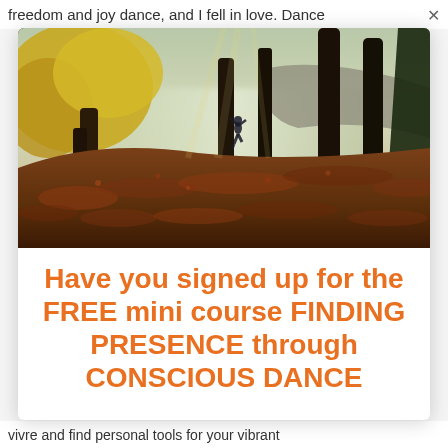freedom and joy dance, and I fell in love. Dance
[Figure (photo): A person dancing or posing on a hillside covered in autumn leaves, surrounded by tall trees with golden foliage and mist over a lake in the background. Natural forest scene in autumn colors.]
Have you signed up for the FREE mini course FINDING PRESENCE through CONSCIOUS DANCE
vivre and find personal tools for your vibrant